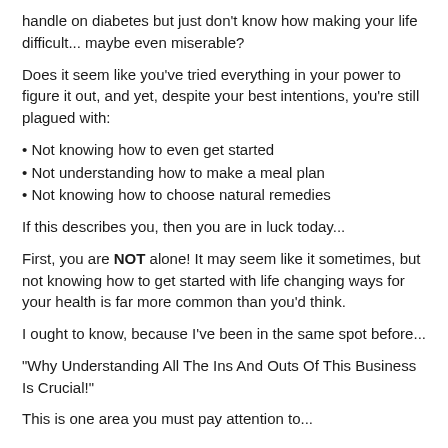handle on diabetes but just don't know how making your life difficult... maybe even miserable?
Does it seem like you've tried everything in your power to figure it out, and yet, despite your best intentions, you're still plagued with:
Not knowing how to even get started
Not understanding how to make a meal plan
Not knowing how to choose natural remedies
If this describes you, then you are in luck today...
First, you are NOT alone! It may seem like it sometimes, but not knowing how to get started with life changing ways for your health is far more common than you'd think.
I ought to know, because I've been in the same spot before...
"Why Understanding All The Ins And Outs Of This Business Is Crucial!"
This is one area you must pay attention to...